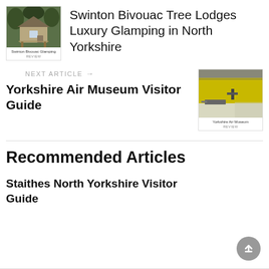[Figure (photo): Thumbnail image of Swinton Bivouac Glamping tree lodge in woodland setting with label 'Swinton Bivouac Glamping REVIEW']
Swinton Bivouac Tree Lodges Luxury Glamping in North Yorkshire
NEXT ARTICLE →
Yorkshire Air Museum Visitor Guide
[Figure (photo): Thumbnail image of Yorkshire Air Museum interior with yellow wall and aircraft, labeled 'Yorkshire Air Museum REVIEW']
Recommended Articles
Staithes North Yorkshire Visitor Guide